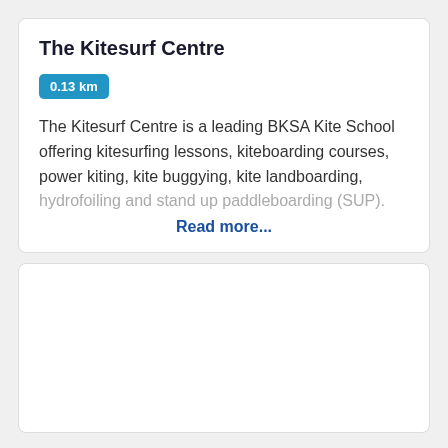The Kitesurf Centre
0.13 km
The Kitesurf Centre is a leading BKSA Kite School offering kitesurfing lessons, kiteboarding courses, power kiting, kite buggying, kite landboarding, hydrofoiling and stand up paddleboarding (SUP).
Read more...